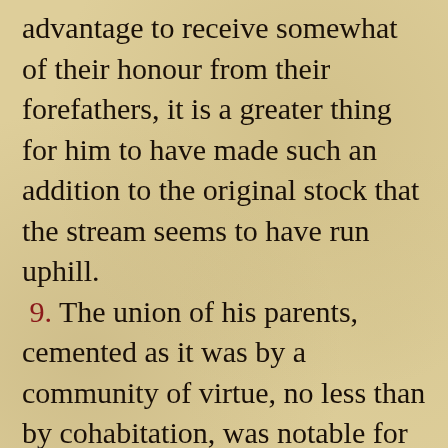advantage to receive somewhat of their honour from their forefathers, it is a greater thing for him to have made such an addition to the original stock that the stream seems to have run uphill. 9. The union of his parents, cemented as it was by a community of virtue, no less than by cohabitation, was notable for many reasons, especially for generosity to the poor, for hospitality, for purity of